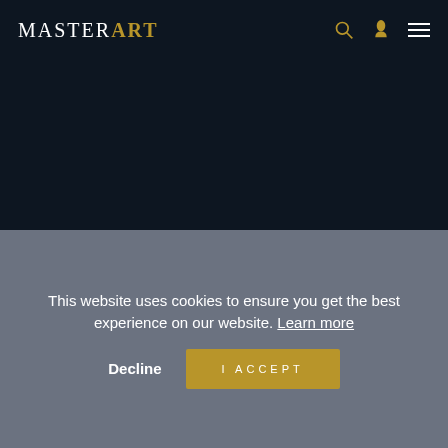MASTERART
[Figure (other): Dark navy hero image area, no visible artwork content]
DESCRIPTION
TECHNICAL
This website uses cookies to ensure you get the best experience on our website. Learn more
Decline   I ACCEPT